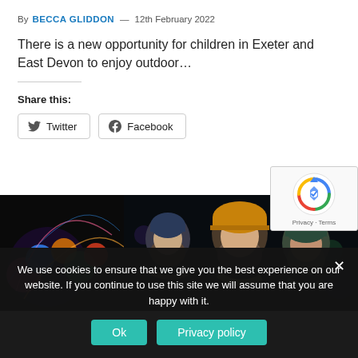By BECCA GLIDDON — 12th February 2022
There is a new opportunity for children in Exeter and East Devon to enjoy outdoor…
Share this:
[Figure (photo): Two photos side by side: left shows colorful illuminated lights display in dark background; right shows three children wearing winter hats smiling at night.]
[Figure (other): reCAPTCHA badge with logo and Privacy - Terms links]
We use cookies to ensure that we give you the best experience on our website. If you continue to use this site we will assume that you are happy with it.